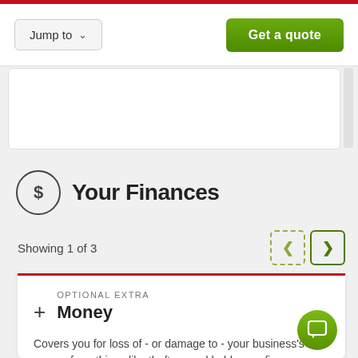[Figure (screenshot): Navigation row with 'Jump to' dropdown button on left and green 'Get a quote' button on right]
Your Finances
Showing 1 of 3
OPTIONAL EXTRA
Money
Covers you for loss of - or damage to - your business's money from things like theft, armed hold-up or fire.